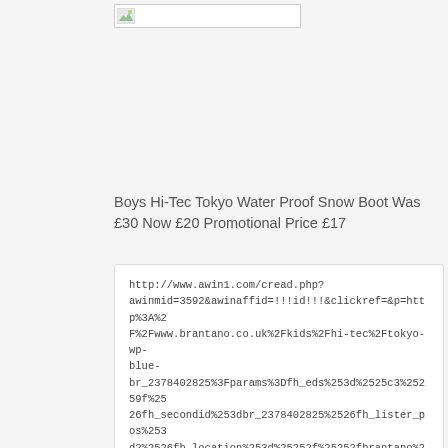[Figure (other): Small image placeholder icon in top area]
Boys Hi-Tec Tokyo Water Proof Snow Boot Was £30 Now £20 Promotional Price £17
http://www.awin1.com/cread.php?awinmid=3592&awinaffid=!!!id!!!&clickref=&p=http%3A%2F%2Fwww.brantano.co.uk%2Fkids%2Fhi-tec%2Ftokyo-wp-blue-br_2378402825%3Fparams%3Dfh_eds%253d%2525c3%25259f%2526fh_secondid%253dbr_2378402825%2526fh_lister_pos%253d2%2526fh_location%253d%25252f%25252fbrantano%25252fen_GB%25252fcategories%25253c%25257bbrantano_br_kids%25257d%25252fbr_compoundcategory%25253e%25257bsale%25257d%25252fbr_search_estyle%25253e%25257bsnow20boots%25257d%2526fh_refview%253dlister